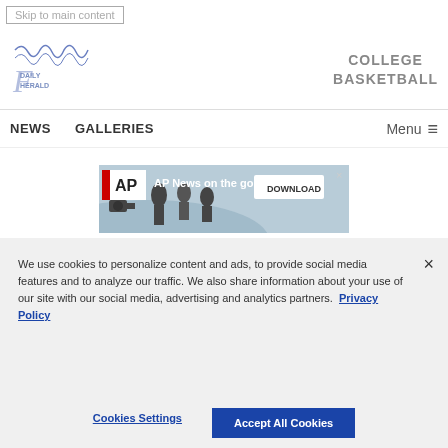Skip to main content
[Figure (logo): Fairborn Daily Herald newspaper logo — stylized blue-ink masthead with cursive lettering]
COLLEGE BASKETBALL
NEWS   GALLERIES   Menu
[Figure (screenshot): AP News on the go advertisement banner with silhouettes of journalists and a DOWNLOAD button]
We use cookies to personalize content and ads, to provide social media features and to analyze our traffic. We also share information about your use of our site with our social media, advertising and analytics partners. Privacy Policy
Cookies Settings   Accept All Cookies